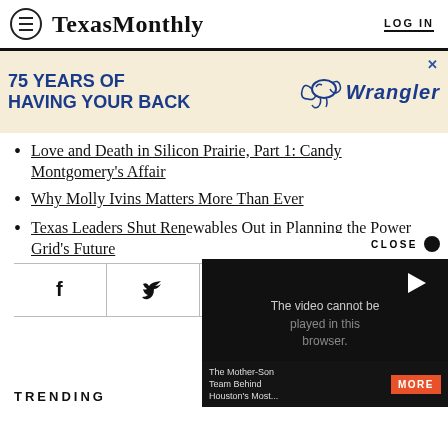Texas Monthly | LOG IN
[Figure (other): Wrangler advertisement banner: '75 YEARS OF HAVING YOUR BACK' with Wrangler logo and horse illustration]
Love and Death in Silicon Prairie, Part 1: Candy Montgomery's Affair
Why Molly Ivins Matters More Than Ever
Texas Leaders Shut Renewables Out in Planning the Power Grid's Future
[Figure (screenshot): Social sharing bar with Facebook, Twitter, and email icons]
[Figure (screenshot): Video overlay: 'The video cannot be played in this browser.' with MORE button and title 'The Mother-Son Team Behind Houston's Most...' with CLOSE button]
TRENDING